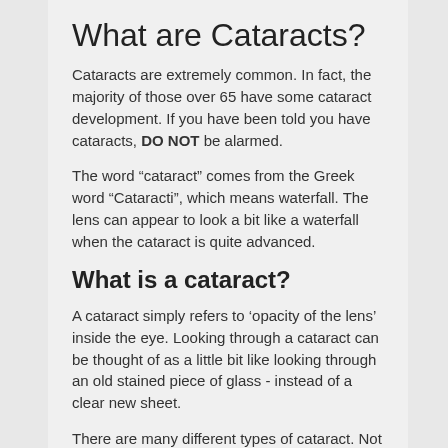What are Cataracts?
Cataracts are extremely common. In fact, the majority of those over 65 have some cataract development. If you have been told you have cataracts, DO NOT be alarmed.
The word “cataract” comes from the Greek word “Cataracti”, which means waterfall. The lens can appear to look a bit like a waterfall when the cataract is quite advanced.
What is a cataract?
A cataract simply refers to ‘opacity of the lens’ inside the eye. Looking through a cataract can be thought of as a little bit like looking through an old stained piece of glass - instead of a clear new sheet.
There are many different types of cataract. Not all cataracts cause